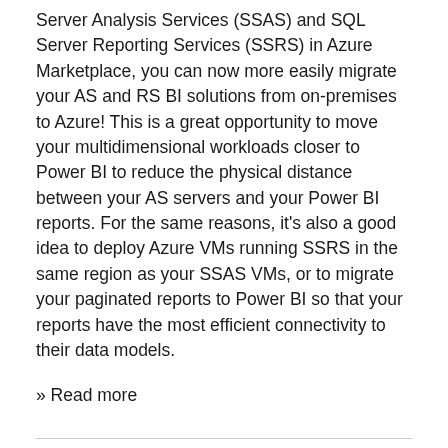Server Analysis Services (SSAS) and SQL Server Reporting Services (SSRS) in Azure Marketplace, you can now more easily migrate your AS and RS BI solutions from on-premises to Azure! This is a great opportunity to move your multidimensional workloads closer to Power BI to reduce the physical distance between your AS servers and your Power BI reports. For the same reasons, it's also a good idea to deploy Azure VMs running SSRS in the same region as your SSAS VMs, or to migrate your paginated reports to Power BI so that your reports have the most efficient connectivity to their data models.
» Read more
New export settings are